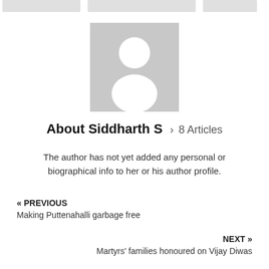[Figure (illustration): Default avatar placeholder image — grey square with white silhouette of a person (circle for head, rounded trapezoid for body)]
About Siddharth S › 8 Articles
The author has not yet added any personal or biographical info to her or his author profile.
« PREVIOUS
Making Puttenahalli garbage free
NEXT »
Martyrs' families honoured on Vijay Diwas